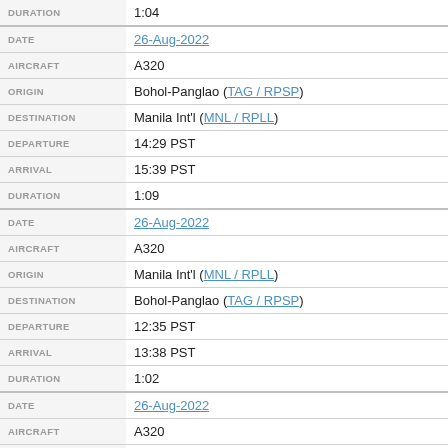| Field | Value |
| --- | --- |
| DURATION | 1:04 |
| DATE | 26-Aug-2022 |
| AIRCRAFT | A320 |
| ORIGIN | Bohol-Panglao (TAG / RPSP) |
| DESTINATION | Manila Int'l (MNL / RPLL) |
| DEPARTURE | 14:29 PST |
| ARRIVAL | 15:39 PST |
| DURATION | 1:09 |
| DATE | 26-Aug-2022 |
| AIRCRAFT | A320 |
| ORIGIN | Manila Int'l (MNL / RPLL) |
| DESTINATION | Bohol-Panglao (TAG / RPSP) |
| DEPARTURE | 12:35 PST |
| ARRIVAL | 13:38 PST |
| DURATION | 1:02 |
| DATE | 26-Aug-2022 |
| AIRCRAFT | A320 |
| ORIGIN | Iloilo Int'l (ILO / RPVI) |
| DESTINATION | Manila Int'l (MNL / RPLL) |
| DEPARTURE | 10:13 PST |